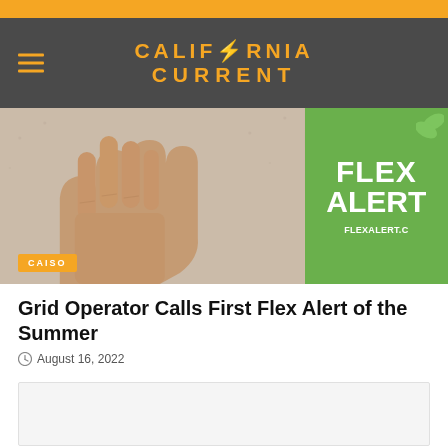CALIFORNIA CURRENT
[Figure (photo): Hero image showing a hand with fingers raised against a light wall background, with a green Flex Alert sign visible on the right side showing FLEX ALERT and FLEXALERT.C text. A CAISO badge label overlaid at bottom left.]
Grid Operator Calls First Flex Alert of the Summer
August 16, 2022